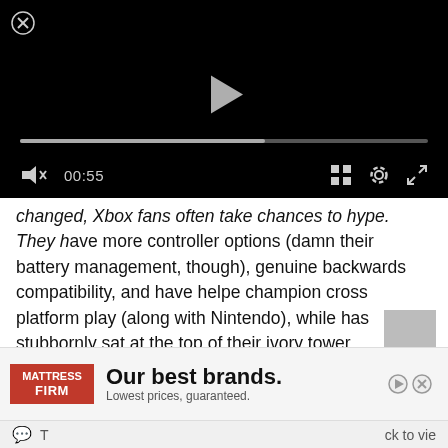[Figure (screenshot): Video player with black background, close button (X in circle) top-left, play button center, progress bar, and controls bar showing mute icon, 00:55 timestamp, grid icon, settings gear icon, and fullscreen icon]
changed, Xbox fans often take chances to hype. They have more controller options (damn their battery management, though), genuine backwards compatibility, and have helped champion cross platform play (along with Nintendo), while has stubbornly sat at the top of their ivory tower.
Ultimately, only you can choose your side. And there is no wrong decision. Unless you choose the PS4 Slim just because is the smallest. That would be weird.
[Figure (screenshot): Advertisement banner for Mattress Firm with red logo on left, bold text 'Our best brands.' and subtext 'Lowest prices, guaranteed.' with play and close controls]
T   ck to vie